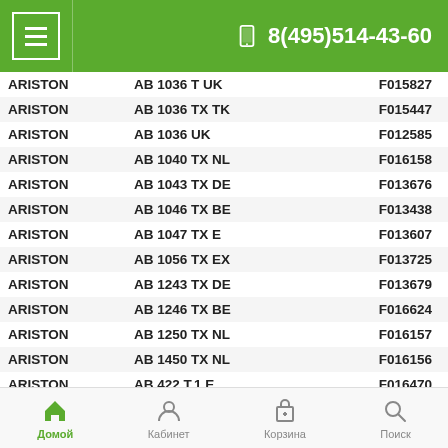8(495)514-43-60
| Brand | Model | Code |
| --- | --- | --- |
| ARISTON | AB 1036 T UK | F015827 |
| ARISTON | AB 1036 TX TK | F015447 |
| ARISTON | AB 1036 UK | F012585 |
| ARISTON | AB 1040 TX NL | F016158 |
| ARISTON | AB 1043 TX DE | F013676 |
| ARISTON | AB 1046 TX BE | F013438 |
| ARISTON | AB 1047 TX E | F013607 |
| ARISTON | AB 1056 TX EX | F013725 |
| ARISTON | AB 1243 TX DE | F013679 |
| ARISTON | AB 1246 TX BE | F016624 |
| ARISTON | AB 1250 TX NL | F016157 |
| ARISTON | AB 1450 TX NL | F016156 |
| ARISTON | AB 422 T.1 E | F016470 |
| ARISTON | AB 422 T.2 E | F013603 |
| ARISTON | AB 423 TX.1 E | F016469 |
| ARISTON | AB 423 TX.2 E | F013604 |
| ARISTON | AB 426 EX | F013754 |
| ARISTON | AB 426 T.2 EX | F013715 |
| ARISTON | AB 426 TX IT | F008412 |
Домой | Кабинет | Корзина | Поиск